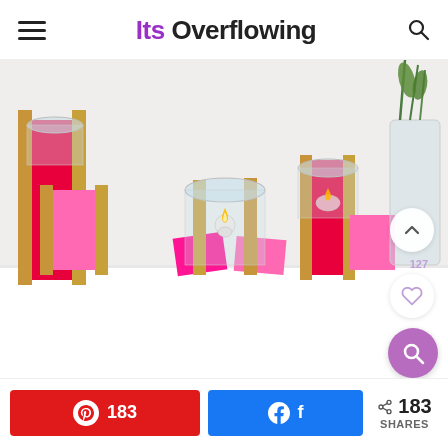Its Overflowing
[Figure (photo): DIY candle holders made from pink/red cardboard and gold-painted wood pieces holding glass tealight cups with a lit candle, arranged on a white shelf with a glass vase of green stems in the background. Navigation overlay buttons: up arrow, heart (127 likes), and purple search icon.]
183
f
< 183 SHARES